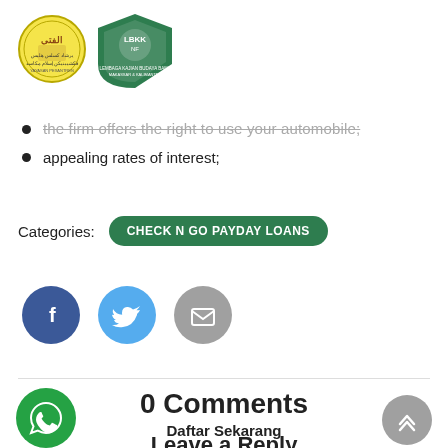[Figure (logo): Two logos: a circular Islamic organization seal and a green shield-shaped educational institution logo]
the firm offers the right to use your automobile;
appealing rates of interest;
Categories: CHECK N GO PAYDAY LOANS
[Figure (infographic): Social sharing buttons: Facebook (dark blue circle with f), Twitter (light blue circle with bird), Email (grey circle with envelope)]
0 Comments
Daftar Sekarang
Leave a Reply